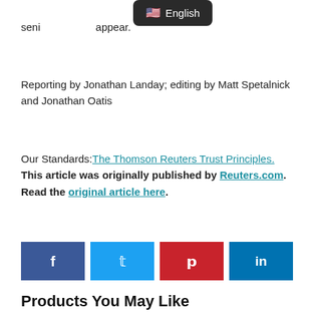[Figure (infographic): Language tooltip overlay showing US flag emoji and the word 'English' on a dark rounded background]
seni…appear.
Reporting by Jonathan Landay; editing by Matt Spetalnick and Jonathan Oatis
Our Standards: The Thomson Reuters Trust Principles. This article was originally published by Reuters.com. Read the original article here.
[Figure (infographic): Social sharing buttons row: Facebook (blue), Twitter (light blue), Pinterest (red), LinkedIn (blue)]
Products You May Like
[Figure (photo): Book cover: Book Lovers by Emily Henry, teal background]
[Figure (photo): Junie B. Jones book box set]
[Figure (photo): Poke-A-Dot: Dinosaurs A to Z book cover]